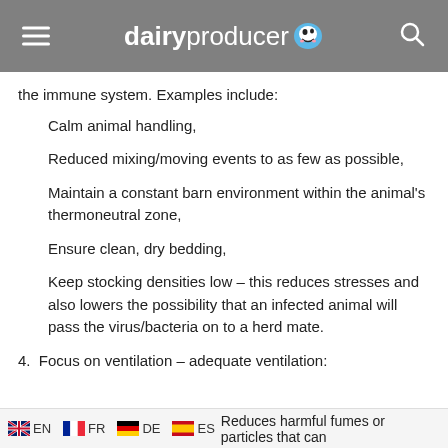dairyproducer
the immune system. Examples include:
Calm animal handling,
Reduced mixing/moving events to as few as possible,
Maintain a constant barn environment within the animal's thermoneutral zone,
Ensure clean, dry bedding,
Keep stocking densities low – this reduces stresses and also lowers the possibility that an infected animal will pass the virus/bacteria on to a herd mate.
4. Focus on ventilation – adequate ventilation:
Reduces harmful fumes or particles that can
EN  FR  DE  ES